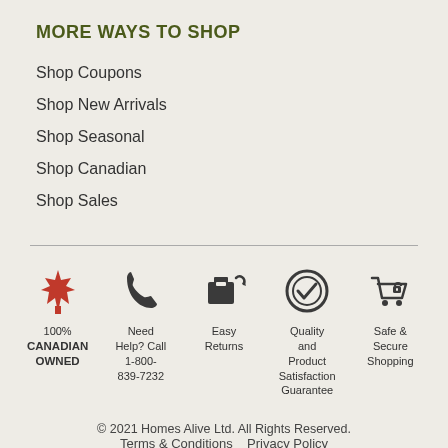MORE WAYS TO SHOP
Shop Coupons
Shop New Arrivals
Shop Seasonal
Shop Canadian
Shop Sales
[Figure (infographic): Five icons in a row: a red maple leaf with '100% CANADIAN OWNED', a phone with 'Need Help? Call 1-800-839-7232', a box with arrows (Easy Returns), a circle checkmark (Quality and Product Satisfaction Guarantee), and a shopping cart with lock (Safe & Secure Shopping)]
© 2021 Homes Alive Ltd. All Rights Reserved. Terms & Conditions    Privacy Policy